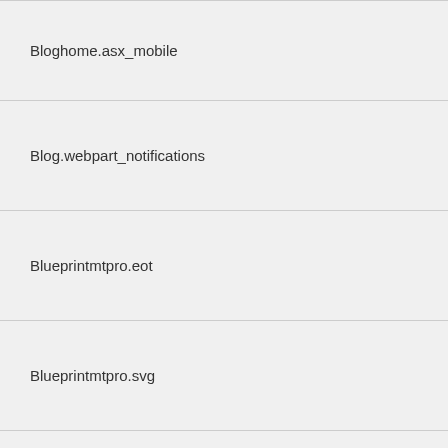Bloghome.asx_mobile
Blog.webpart_notifications
Blueprintmtpro.eot
Blueprintmtpro.svg
Blueprintmtpro.ttf